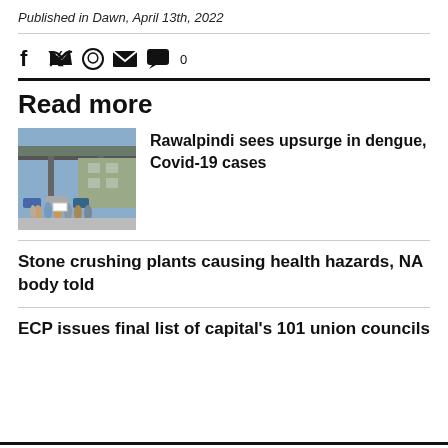Published in Dawn, April 13th, 2022
Read more
[Figure (photo): Crowd of people gathered outdoors near an overpass and parked vehicles]
Rawalpindi sees upsurge in dengue, Covid-19 cases
Stone crushing plants causing health hazards, NA body told
ECP issues final list of capital’s 101 union councils